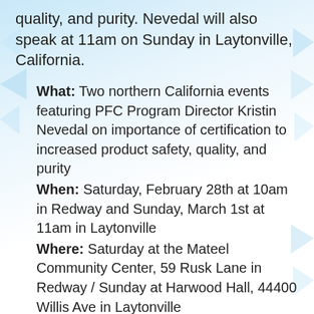quality, and purity. Nevedal will also speak at 11am on Sunday in Laytonville, California.
What: Two northern California events featuring PFC Program Director Kristin Nevedal on importance of certification to increased product safety, quality, and purity
When: Saturday, February 28th at 10am in Redway and Sunday, March 1st at 11am in Laytonville
Where: Saturday at the Mateel Community Center, 59 Rusk Lane in Redway / Sunday at Harwood Hall, 44400 Willis Ave in Laytonville
"The Patient Focused Certification program provides a means for California cannabis farmers to show ongoing compliance in a market place with gray regulatory